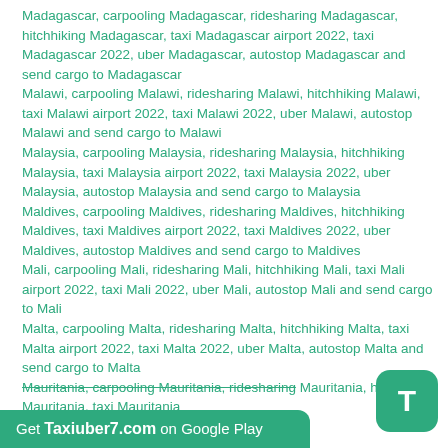Madagascar, carpooling Madagascar, ridesharing Madagascar, hitchhiking Madagascar, taxi Madagascar airport 2022, taxi Madagascar 2022, uber Madagascar, autostop Madagascar and send cargo to Madagascar Malawi, carpooling Malawi, ridesharing Malawi, hitchhiking Malawi, taxi Malawi airport 2022, taxi Malawi 2022, uber Malawi, autostop Malawi and send cargo to Malawi Malaysia, carpooling Malaysia, ridesharing Malaysia, hitchhiking Malaysia, taxi Malaysia airport 2022, taxi Malaysia 2022, uber Malaysia, autostop Malaysia and send cargo to Malaysia Maldives, carpooling Maldives, ridesharing Maldives, hitchhiking Maldives, taxi Maldives airport 2022, taxi Maldives 2022, uber Maldives, autostop Maldives and send cargo to Maldives Mali, carpooling Mali, ridesharing Mali, hitchhiking Mali, taxi Mali airport 2022, taxi Mali 2022, uber Mali, autostop Mali and send cargo to Mali Malta, carpooling Malta, ridesharing Malta, hitchhiking Malta, taxi Malta airport 2022, taxi Malta 2022, uber Malta, autostop Malta and send cargo to Malta Mauritania, carpooling Mauritania, ridesharing Mauritania, hitchhiking Mauritania, taxi Mauritania
Get Taxiuber7.com on Google Play